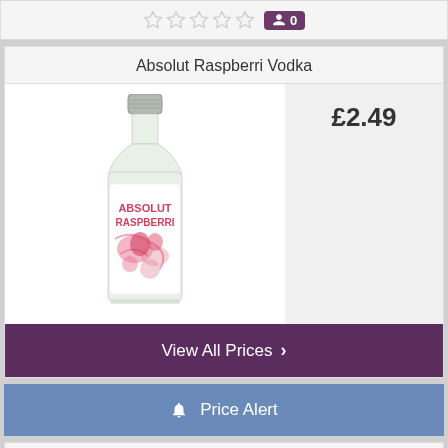[Figure (other): Five empty star rating icons with a purple review count badge showing 0]
Absolut Raspberri Vodka
[Figure (photo): Photo of Absolut Raspberri Vodka miniature bottle with pink raspberry label design]
£2.49
View All Prices
Price Alert
[Figure (other): Five empty star rating icons with a purple review count badge showing 0]